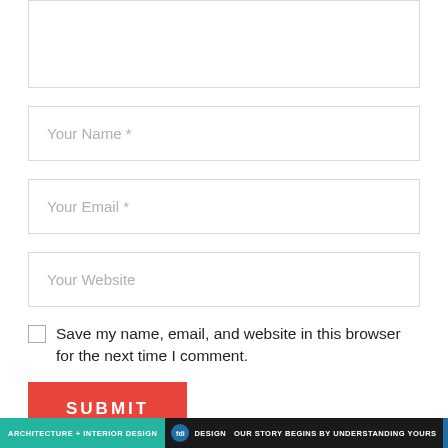[Figure (screenshot): A text area input box with a light gray border, mostly empty, shown at the top of a web comment form.]
Your Name *
Your Email *
Your Website
Save my name, email, and website in this browser for the next time I comment.
SUBMIT
ARCHITECTURE + INTERIOR DESIGN | [logo] DESIGN OUR STORY BEGINS BY UNDERSTANDING YOURS | SEE MORE